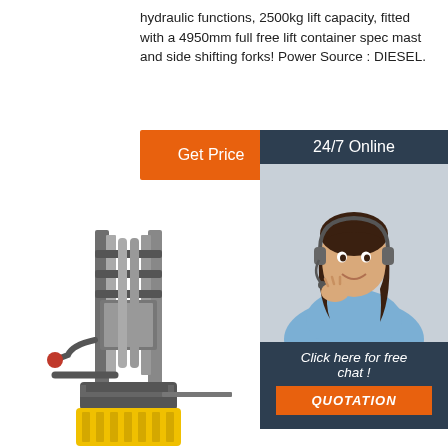hydraulic functions, 2500kg lift capacity, fitted with a 4950mm full free lift container spec mast and side shifting forks! Power Source : DIESEL.
[Figure (other): Orange 'Get Price' button]
[Figure (photo): Customer service representative with headset, '24/7 Online' banner, 'Click here for free chat!' text, and orange 'QUOTATION' button on dark sidebar]
[Figure (photo): Forklift stacker machine with yellow base, grey mast, and extended forks visible at bottom]